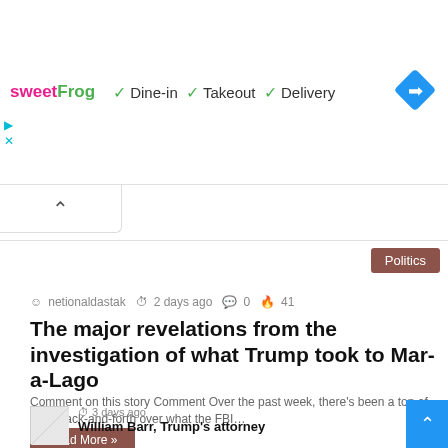[Figure (screenshot): Ad banner for sweetFrog restaurant showing Dine-in, Takeout, Delivery options with checkmarks and navigation diamond icon]
netionaldastak  2 days ago  0  41
The major revelations from the investigation of what Trump took to Mar-a-Lago
Comment on this story Comment Over the past week, there's been a ton of legal back-and-forth over what the FBI…
Read More »
3 days ago
William Barr, Trump's attorney